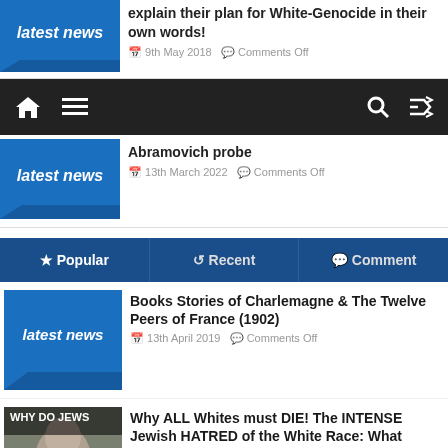[Figure (screenshot): Blue 'latest news' speech bubble thumbnail]
explain their plan for White-Genocide in their own words!
9th May 2018   Comments Off
[Figure (screenshot): Navigation bar with home, menu, search, shuffle icons on dark background]
[Figure (screenshot): Blue 'latest news' speech bubble thumbnail]
Abramovich probe
13th March 2022   Comments Off
★ Popular   ↺ Recent   💬 Comment
[Figure (screenshot): Blue 'latest news' speech bubble thumbnail]
Books Stories of Charlemagne & The Twelve Peers of France (1902)
13th April 2019   Comments Off
[Figure (photo): Photo with text overlay: WHY DO JEWS / HATE WHITE PEOPLE SO]
Why ALL Whites must DIE! The INTENSE Jewish HATRED of the White Race: What Jews OPENLY SAY!
18th January 2018   Comments Off